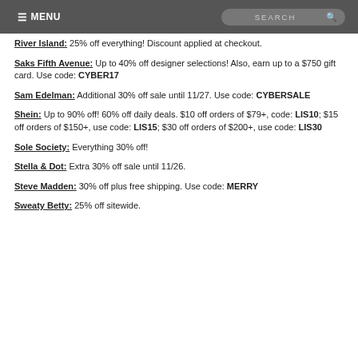MENU | SEARCH
River Island: 25% off everything! Discount applied at checkout.
Saks Fifth Avenue: Up to 40% off designer selections! Also, earn up to a $750 gift card. Use code: CYBER17
Sam Edelman: Additional 30% off sale until 11/27. Use code: CYBERSALE
Shein: Up to 90% off! 60% off daily deals. $10 off orders of $79+, code: LIS10; $15 off orders of $150+, use code: LIS15; $30 off orders of $200+, use code: LIS30
Sole Society: Everything 30% off!
Stella & Dot: Extra 30% off sale until 11/26.
Steve Madden: 30% off plus free shipping. Use code: MERRY
Sweaty Betty: 25% off sitewide.